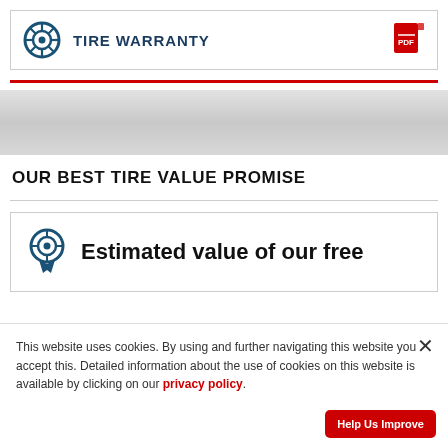TIRE WARRANTY
OUR BEST TIRE VALUE PROMISE
Estimated value of our free
This website uses cookies. By using and further navigating this website you accept this. Detailed information about the use of cookies on this website is available by clicking on our privacy policy.